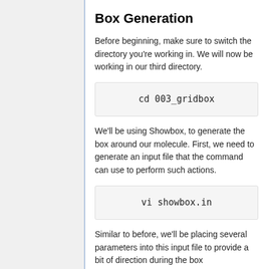Box Generation
Before beginning, make sure to switch the directory you're working in. We will now be working in our third directory.
cd 003_gridbox
We'll be using Showbox, to generate the box around our molecule. First, we need to generate an input file that the command can use to perform such actions.
vi showbox.in
Similar to before, we'll be placing several parameters into this input file to provide a bit of direction during the box